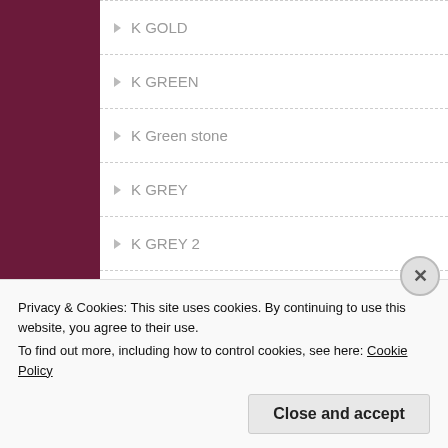K GOLD
K GREEN
K Green stone
K GREY
K GREY 2
K GREY 3
Kashmir Gold
KASMUS 1
KASMUS 2
Kasmus Marble
Privacy & Cookies: This site uses cookies. By continuing to use this website, you agree to their use.
To find out more, including how to control cookies, see here: Cookie Policy
Close and accept